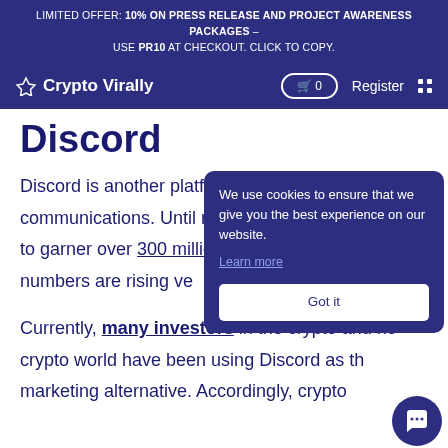LIMITED OFFER: 10% ON PRESS RELEASE AND PROJECT AWARENESS PACKAGES – USE PR10 AT CHECKOUT. CLICK TO COPY.
CryptoVirally  🛒 0  Register
Discord
Discord is another platform for social communications. Until now, Discord has managed to garner over 300 million registered users and the numbers are rising very quickly in recent years.
[Figure (screenshot): Cookie consent popup overlay with dark blue background reading: 'We use cookies to ensure that we give you the best experience on our website. Learn more' and a 'Got it' button]
Currently, many investors in the crypto and non-crypto world have been using Discord as the marketing alternative. Accordingly, crypto